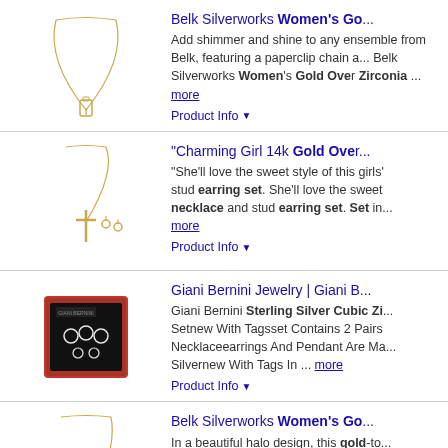[Figure (photo): Gold necklace with small pendant on white background]
Belk Silverworks Women's Go... Add shimmer and shine to any ensemble from Belk, featuring a paperclip chain and Belk Silverworks Women's Gold Over Zirconia ... more
Product Info ▼
[Figure (photo): Gold cross necklace with stud earrings set]
"Charming Girl 14k Gold Over... "She'll love the sweet style of this girls' stud earring set. She'll love the sweet necklace and stud earring set. Set in... more
Product Info ▼
[Figure (photo): Giani Bernini jewelry set in red box with earrings and pendant]
Giani Bernini Jewelry | Giani B... Giani Bernini Sterling Silver Cubic Zi... Setnew With Tagsset Contains 2 Pairs Necklaceearrings And Pendant Are Ma... Silvernew With Tags In ... more
Product Info ▼
[Figure (photo): Gold halo pendant necklace with pearl and cubic zirconia, earrings set]
Belk Silverworks Women's Go... In a beautiful halo design, this gold-to... Silverworks gives any look a well-roun... Gold Over Sterling Silver Opal Cubic Set ... more
Product Info ▼